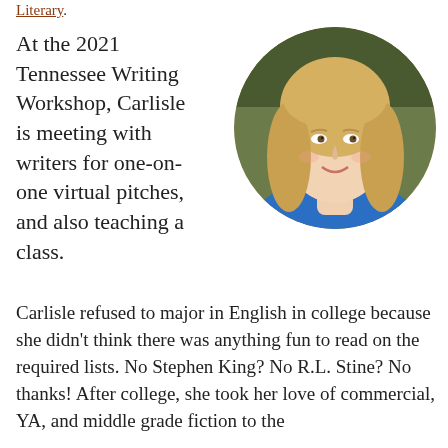Literary.
[Figure (photo): Headshot of a smiling young blonde woman wearing a blue top, circular crop, against a blurred outdoor background.]
At the 2021 Tennessee Writing Workshop, Carlisle is meeting with writers for one-on-one virtual pitches, and also teaching a class.
Carlisle refused to major in English in college because she didn't think there was anything fun to read on the required lists. No Stephen King? No R.L. Stine? No thanks! After college, she took her love of commercial, YA, and middle grade fiction to the